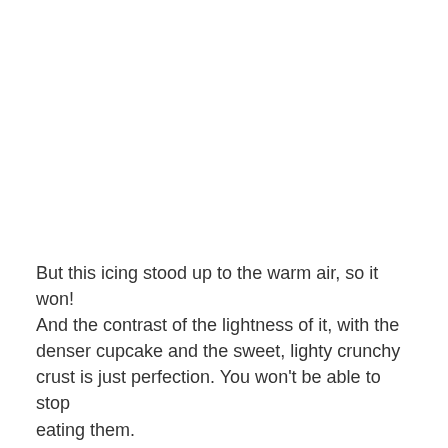But this icing stood up to the warm air, so it won! And the contrast of the lightness of it, with the denser cupcake and the sweet, lighty crunchy crust is just perfection. You won't be able to stop eating them.
Then I finished them off with a little chocolate sauce and a sprinkle of graham cracker crumbs. Super cute, but totally optional.